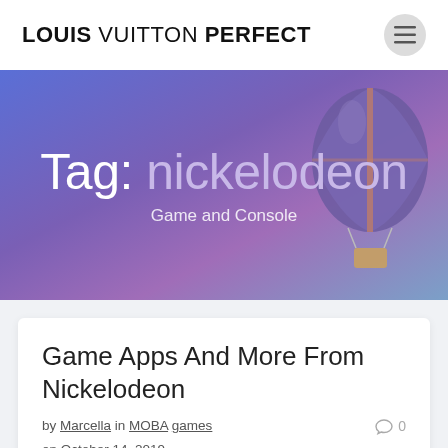LOUIS VUITTON PERFECT
Tag: nickelodeon
Game and Console
Game Apps And More From Nickelodeon
by Marcella in MOBA games on October 14, 2019